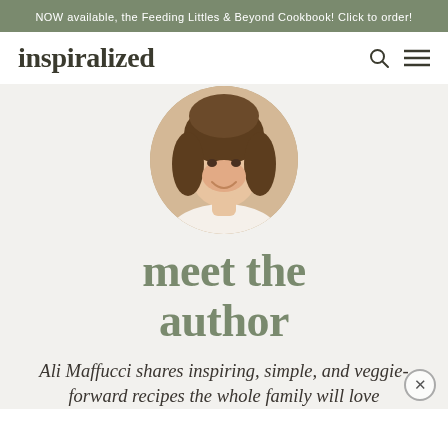NOW available, the Feeding Littles & Beyond Cookbook! Click to order!
inspiralized
[Figure (photo): Circular cropped photo of Ali Maffucci, a woman with long brown hair, smiling, wearing a white top, with a wood background.]
meet the author
Ali Maffucci shares inspiring, simple, and veggie-forward recipes the whole family will love